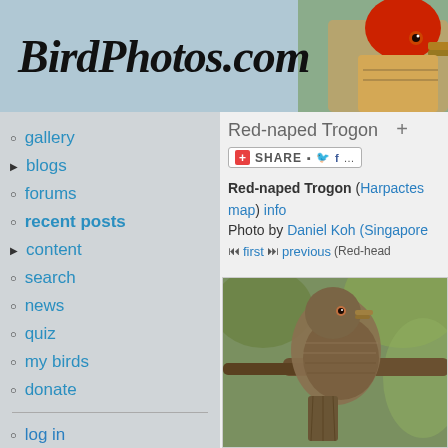BirdPhotos.com
[Figure (photo): Red-naped Trogon bird photo in header]
gallery
blogs
forums
recent posts
content
search
news
quiz
my birds
donate
log in
Red-naped Trogon +
Red-naped Trogon (Harpactes map) info
Photo by Daniel Koh (Singapore
first previous (Red-head
[Figure (photo): Photograph of a Red-naped Trogon bird perched on a branch]